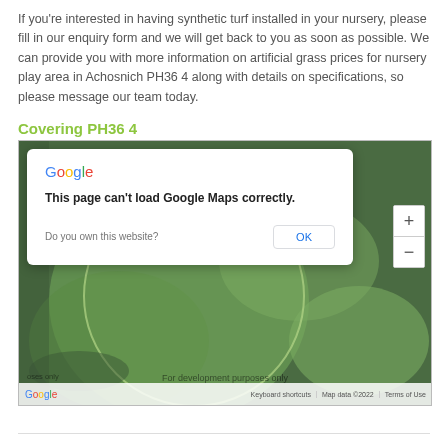If you're interested in having synthetic turf installed in your nursery, please fill in our enquiry form and we will get back to you as soon as possible. We can provide you with more information on artificial grass prices for nursery play area in Achosnich PH36 4 along with details on specifications, so please message our team today.
Covering PH36 4
[Figure (screenshot): Google Maps screenshot showing area around Achosnich/Kilchoan PH36 4, with a dialog box overlay saying 'This page can't load Google Maps correctly.' with an OK button and 'Do you own this website?' prompt. Map shows green terrain with Kilchoan label. Map has zoom controls (+/-), Google logo, and footer showing Keyboard shortcuts, Map data ©2022, Terms of Use.]